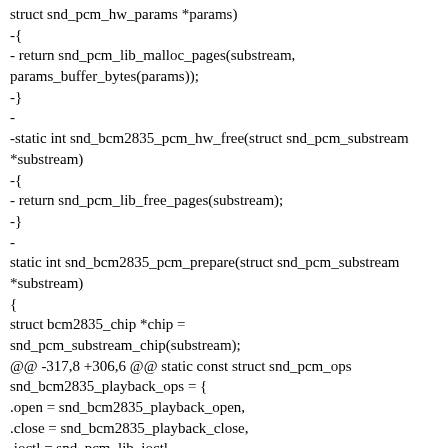struct snd_pcm_hw_params *params)
-{
- return snd_pcm_lib_malloc_pages(substream,
params_buffer_bytes(params));
-}
-
-static int snd_bcm2835_pcm_hw_free(struct snd_pcm_substream *substream)
-{
- return snd_pcm_lib_free_pages(substream);
-}
-
static int snd_bcm2835_pcm_prepare(struct snd_pcm_substream *substream)
{
struct bcm2835_chip *chip =
snd_pcm_substream_chip(substream);
@@ -317,8 +306,6 @@ static const struct snd_pcm_ops snd_bcm2835_playback_ops = {
.open = snd_bcm2835_playback_open,
.close = snd_bcm2835_playback_close,
.ioctl = snd_pcm_lib_ioctl,
- .hw_params = snd_bcm2835_pcm_hw_params,
- .hw_free = snd_bcm2835_pcm_hw_free,
.prepare = snd_bcm2835_pcm_prepare,
.trigger = snd_bcm2835_pcm_trigger,